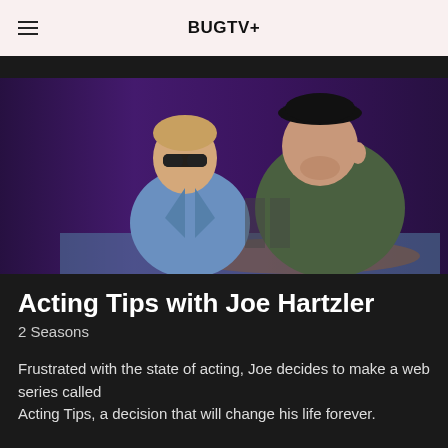BUGTV+
[Figure (photo): Two men posing in front of a purple draped backdrop. The man on the left wears sunglasses and a denim jacket; the man on the right wears a black cap and a dark green t-shirt.]
Acting Tips with Joe Hartzler
2 Seasons
Frustrated with the state of acting, Joe decides to make a web series called Acting Tips, a decision that will change his life forever.